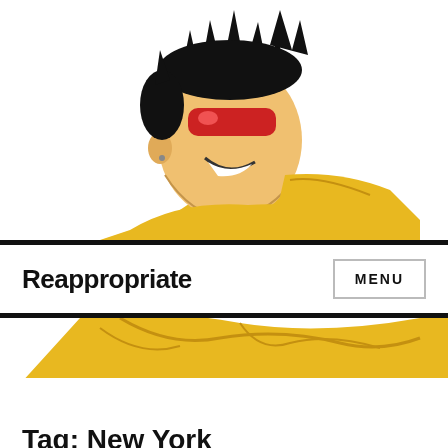[Figure (illustration): Comic book style illustration of a grinning Asian male character wearing a red visor/goggle and a yellow jacket, shown from behind/side profile, with spiky black hair]
Reappopriate
MENU
[Figure (illustration): Lower portion of the same comic character in yellow jacket]
Tag: New York
Could Tim Wu become New York's first Asian